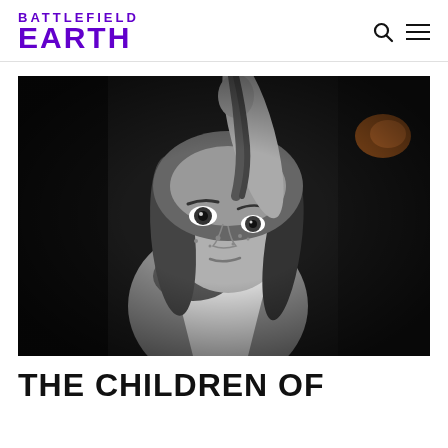BATTLEFIELD EARTH
[Figure (photo): Black and white photo of a young girl with braided hair, freckles, and an intense expression, wearing primitive/tribal clothing, holding onto a rope or piece of fur.]
THE CHILDREN OF